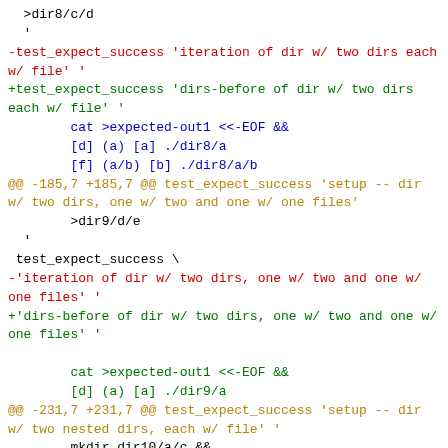Code diff showing changes to test_expect_success calls, replacing 'iteration of dir' with 'dirs-before of dir' descriptions, with hunk headers and context lines.